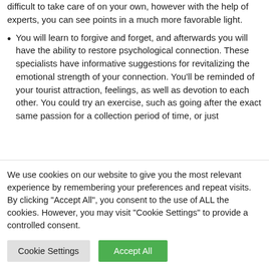difficult to take care of on your own, however with the help of experts, you can see points in a much more favorable light.
You will learn to forgive and forget, and afterwards you will have the ability to restore psychological connection. These specialists have informative suggestions for revitalizing the emotional strength of your connection. You'll be reminded of your tourist attraction, feelings, as well as devotion to each other. You could try an exercise, such as going after the exact same passion for a collection period of time, or just
We use cookies on our website to give you the most relevant experience by remembering your preferences and repeat visits. By clicking "Accept All", you consent to the use of ALL the cookies. However, you may visit "Cookie Settings" to provide a controlled consent.
Cookie Settings
Accept All